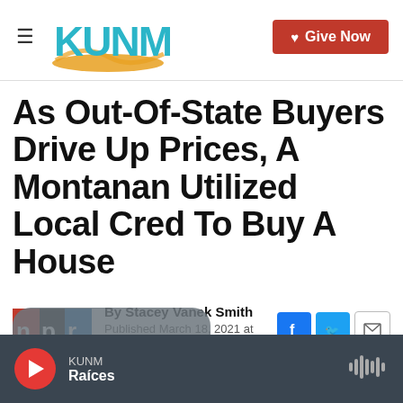KUNM — Give Now
As Out-Of-State Buyers Drive Up Prices, A Montanan Utilized Local Cred To Buy A House
By Stacey Vanek Smith
Published March 18, 2021 at 2:20 PM MDT
KUNM — Raíces